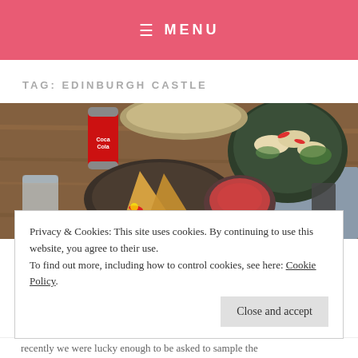≡ MENU
TAG: EDINBURGH CASTLE
[Figure (photo): Overhead view of Asian food dishes on a wooden table: dumplings in a dark bowl with chili slices, samosa-like pastry with dipping sauce, a Coca-Cola can, and glasses of water.]
Privacy & Cookies: This site uses cookies. By continuing to use this website, you agree to their use.
To find out more, including how to control cookies, see here: Cookie Policy
Close and accept
recently we were lucky enough to be asked to sample the